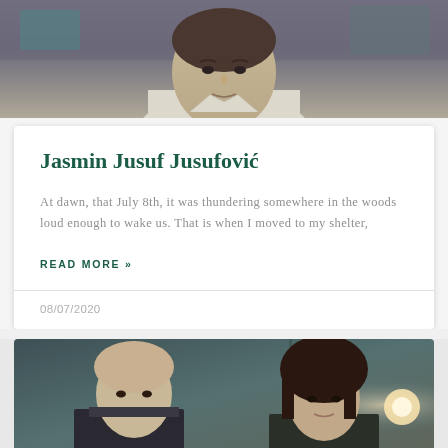[Figure (photo): Top portion of a photo showing a man in a white shirt with a tie, photographed indoors]
Jasmin Jusuf Jusufović
At dawn, that July 8th, it was thundering somewhere in the woods loud enough to wake us. That is when I moved to my shelter,
READ MORE »
08/07/2020
[Figure (photo): Bottom photo showing two people, a man on the left and a woman on the right, with a light source visible]